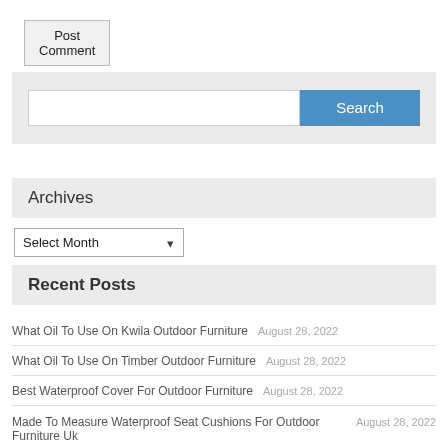Post Comment
[Figure (screenshot): Search bar with text input field and blue Search button on grey background]
Archives
Select Month
Recent Posts
What Oil To Use On Kwila Outdoor Furniture  August 28, 2022
What Oil To Use On Timber Outdoor Furniture  August 28, 2022
Best Waterproof Cover For Outdoor Furniture  August 28, 2022
Made To Measure Waterproof Seat Cushions For Outdoor Furniture Uk  August 28, 2022